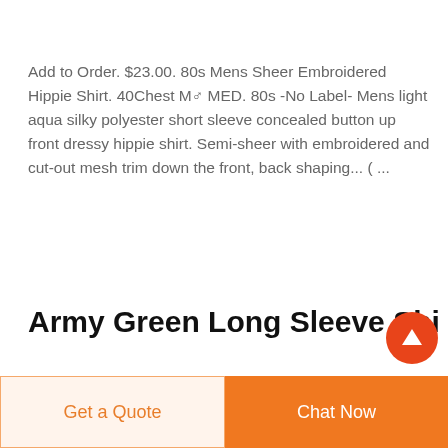Add to Order. $23.00. 80s Mens Sheer Embroidered Hippie Shirt. 40Chest M♂ MED. 80s -No Label- Mens light aqua silky polyester short sleeve concealed button up front dressy hippie shirt. Semi-sheer with embroidered and cut-out mesh trim down the front, back shaping... ( ...
Army Green Long Sleeve Shirt |...